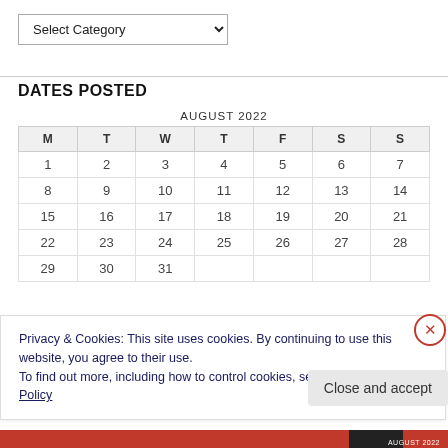[Figure (other): Dropdown select input labeled 'Select Category' with a down arrow]
DATES POSTED
| M | T | W | T | F | S | S |
| --- | --- | --- | --- | --- | --- | --- |
| 1 | 2 | 3 | 4 | 5 | 6 | 7 |
| 8 | 9 | 10 | 11 | 12 | 13 | 14 |
| 15 | 16 | 17 | 18 | 19 | 20 | 21 |
| 22 | 23 | 24 | 25 | 26 | 27 | 28 |
| 29 | 30 | 31 |  |  |  |  |
Privacy & Cookies: This site uses cookies. By continuing to use this website, you agree to their use.
To find out more, including how to control cookies, see here: Cookie Policy
Close and accept